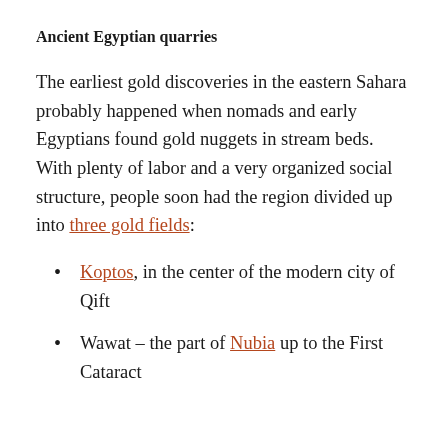Ancient Egyptian quarries
The earliest gold discoveries in the eastern Sahara probably happened when nomads and early Egyptians found gold nuggets in stream beds. With plenty of labor and a very organized social structure, people soon had the region divided up into three gold fields:
Koptos, in the center of the modern city of Qift
Wawat – the part of Nubia up to the First Cataract